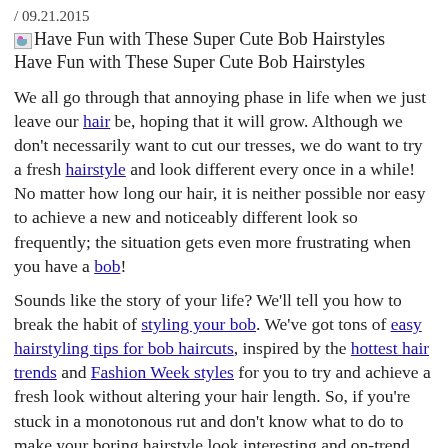/ 09.21.2015
Have Fun with These Super Cute Bob Hairstyles
We all go through that annoying phase in life when we just leave our hair be, hoping that it will grow. Although we don't necessarily want to cut our tresses, we do want to try a fresh hairstyle and look different every once in a while! No matter how long our hair, it is neither possible nor easy to achieve a new and noticeably different look so frequently; the situation gets even more frustrating when you have a bob!
Sounds like the story of your life? We'll tell you how to break the habit of styling your bob. We've got tons of easy hairstyling tips for bob haircuts, inspired by the hottest hair trends and Fashion Week styles for you to try and achieve a fresh look without altering your hair length. So, if you're stuck in a monotonous rut and don't know what to do to make your boring hairstyle look interesting and on-trend, don't give up hope just yet. Take a look at these 10 absolutely fantastic ways to style your bob that we've pulled together just for you:
[Figure (photo): Bob Cut with Blunt Bangs thumbnail image]
1. Bob with Blunt Bangs